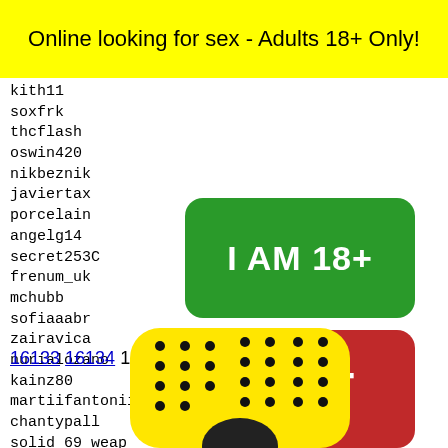Online looking for sex - Adults 18+ Only!
kith11
soxfrk
thcflash
oswin420
nikbeznik
javiertax
porcelain
angelg14
secret2530
frenum_uk
mchubb
sofiaaabr
zairavica
nurialozano
kainz80
martiifantonii
chantypall
solid_69_weap
rachelebadagliacco48
teh.ar--b360150
lexiel
picagi
shh101
bbyhan
Kat202
bath
[Figure (other): Green rounded button with text I AM 18+]
[Figure (other): Red rounded button with text EXIT]
16133 16134 16135 16136 16137
[Figure (other): Snapchat ghost logo on yellow background with a face partially visible at bottom]